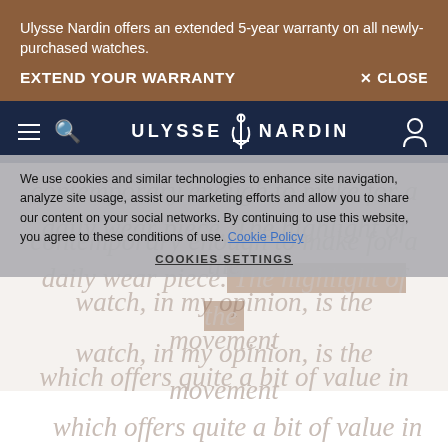Ulysse Nardin offers an extended 5-year warranty on all newly-purchased watches.
EXTEND YOUR WARRANTY
× CLOSE
[Figure (screenshot): Ulysse Nardin website navigation bar with hamburger menu, search icon, brand logo with anchor, and account icon on dark navy background]
We use cookies and similar technologies to enhance site navigation, analyze site usage, assist our marketing efforts and allow you to share our content on your social networks. By continuing to use this website, you agree to these conditions of use. Cookie Policy
Cookies Settings
contemporary enough to make for a daily wear piece. The highlight of the watch, in my opinion, is the movement which offers quite a bit of value in terms of horological pedigree."